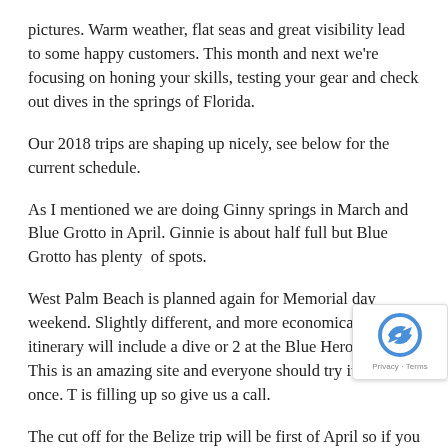pictures.  Warm weather, flat seas and great visibility lead to some happy customers.  This month and next we're focusing on honing your skills, testing your gear and check out dives in the springs of Florida.
Our 2018 trips are shaping up nicely, see below for the current schedule.
As I mentioned we are doing Ginny springs in March and Blue Grotto in April.  Ginnie is about half full but Blue Grotto has plenty  of spots.
West Palm Beach is planned again for Memorial day weekend.  Slightly different, and more economical, itinerary will include a dive or 2 at the Blue Heron Bridge.  This is an amazing site and everyone should try it at least once. T is filling up so give us a call.
The cut off for the Belize trip will be first of April so if you